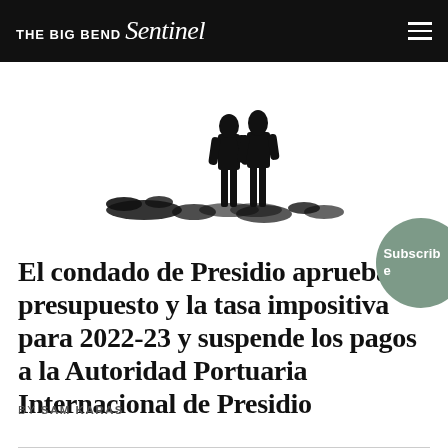THE BIG BEND Sentinel
[Figure (illustration): Black silhouette illustration of two people standing outdoors with sparse landscape elements]
El condado de Presidio aprueba el presupuesto y la tasa impositiva para 2022-23 y suspende los pagos a la Autoridad Portuaria Internacional de Presidio
BY SAM KARAS